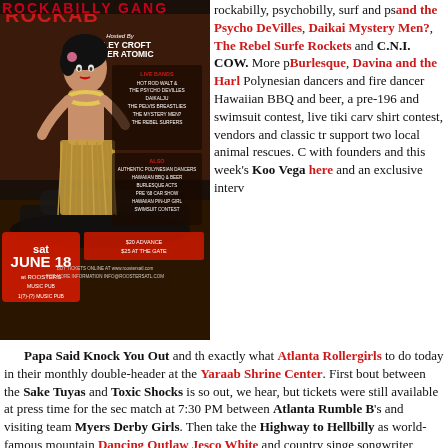[Figure (photo): Event poster for Rockabilly gang event on Saturday June 18, hosted by Ashley Croft & Tyler Atomic. Features a pin-up style woman in hula skirt with lei. Lists live bands: Hot Rod Walt & The Psycho DeVilles, Daikalju, The Pelvis Breastlies, The Mystery Men?, The Rebel Surfers. Also lists: Authentic Polynesian Dancers, Hawaiian BBQ & Beer, Burlesque Acts, Pre '68 Car Show, Hawaiian Pin-Up Girl Swimsuit Contest. Price: $20 advance, $25 at the gate.]
rockabilly, psychobilly, surf and ps... and the Psycho DeVilles, Daikai... Mystery Men?, The Rebel Surfe... Rockets and C.N.I. COW. More p... Burlesque, Davina and the Harl... Polynesian dancers and fire dancer... Hawaiian BBQ and beer, a pre-196... and swimsuit contest, live tiki carv... shirt contest, vendors and classic tr... support two local animal rescues. C... with founders and this week's Koo... Vega here and an exclusive interv...
Papa Said Knock You Out and th... exactly what Atlanta Rollergirls ... to do today in their monthly double-header at the Yaraab Shrine Center. First bout between the Sake Tuyas and Toxic Shocks is so... out, we hear, but tickets were still available at press time for the sec... match at 7:30 PM between Atlanta Rumble B's and visiting team Myers Derby Girls. Then take the Highway to Hellbilly as world-famous mountain Dancing Outlaw Jesco White and country singe... songwriter Roger Alan Wade burn up Atlanta at 529 Club in East Atlanta. DJ Romeo Cologne transforms the sensationally seedy Clermont Lounge into a '70s disco/funk inferno. And of course, '8... metalheads/rockers will want to head to Lakewood Amphitheatre